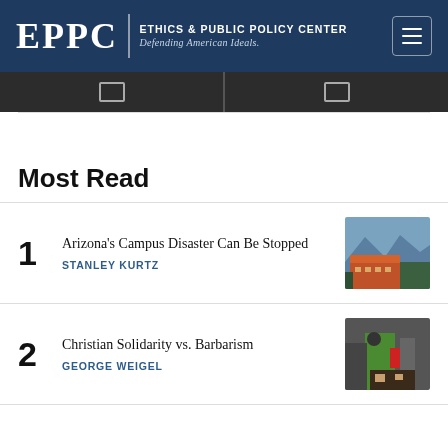EPPC | ETHICS & PUBLIC POLICY CENTER Defending American Ideals.
Most Read
1 Arizona's Campus Disaster Can Be Stopped — STANLEY KURTZ
2 Christian Solidarity vs. Barbarism — GEORGE WEIGEL